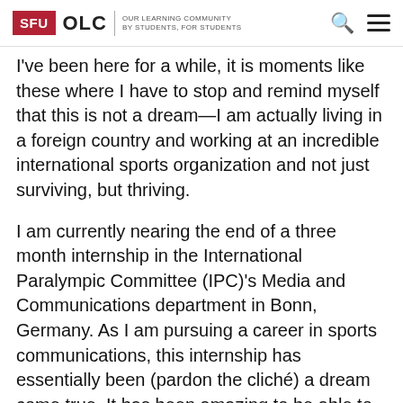SFU OLC | OUR LEARNING COMMUNITY BY STUDENTS, FOR STUDENTS
I've been here for a while, it is moments like these where I have to stop and remind myself that this is not a dream—I am actually living in a foreign country and working at an incredible international sports organization and not just surviving, but thriving.
I am currently nearing the end of a three month internship in the International Paralympic Committee (IPC)'s Media and Communications department in Bonn, Germany. As I am pursuing a career in sports communications, this internship has essentially been (pardon the cliché) a dream come true. It has been amazing to be able to work in an area that I am passionate about with an organization that is driven to change the world through Para sport. While my